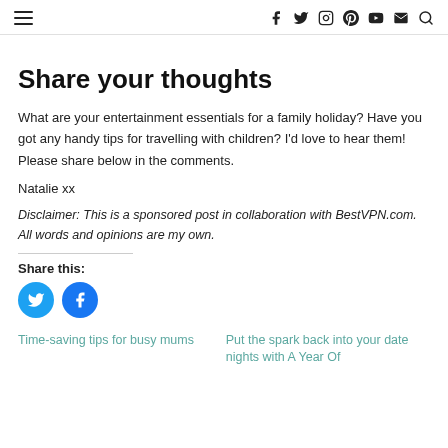≡ [navigation icons: facebook, twitter, instagram, pinterest, youtube, email, search]
Share your thoughts
What are your entertainment essentials for a family holiday? Have you got any handy tips for travelling with children? I'd love to hear them! Please share below in the comments.
Natalie xx
Disclaimer: This is a sponsored post in collaboration with BestVPN.com. All words and opinions are my own.
Share this:
[Figure (other): Twitter and Facebook share buttons (circular blue icons)]
Time-saving tips for busy mums
Put the spark back into your date nights with A Year Of